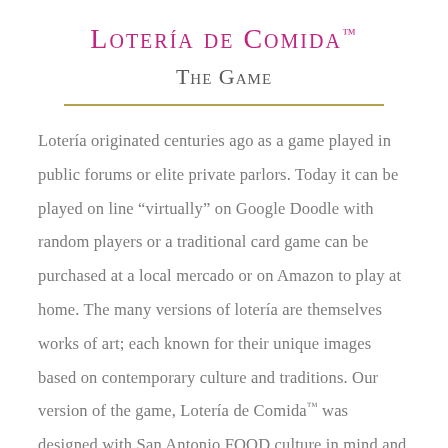Lotería de Comida™
The Game
Lotería originated centuries ago as a game played in public forums or elite private parlors. Today it can be played on line "virtually" on Google Doodle with random players or a traditional card game can be purchased at a local mercado or on Amazon to play at home. The many versions of lotería are themselves works of art; each known for their unique images based on contemporary culture and traditions. Our version of the game, Lotería de Comida™ was designed with San Antonio FOOD culture in mind and features brightly colored